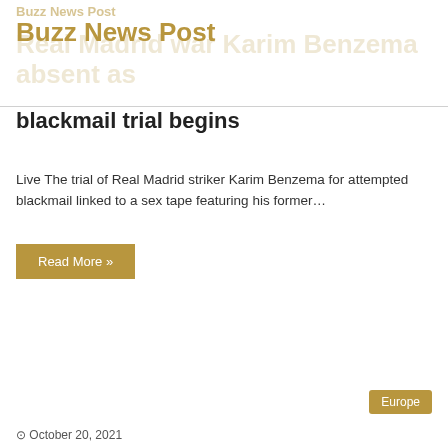Buzz News Post
Real Madrid war Karim Benzema absent as blackmail trial begins
Live The trial of Real Madrid striker Karim Benzema for attempted blackmail linked to a sex tape featuring his former…
Read More »
Europe
October 20, 2021